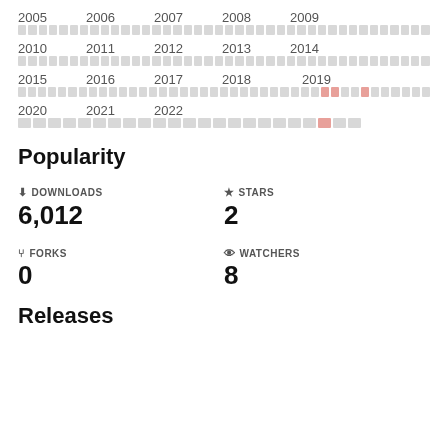[Figure (other): Calendar/heatmap showing activity from 2005 to 2022. Rows of small rectangular cells representing months or weeks, mostly grey with some pink/red highlighted cells in 2018 (around months 7-8 and month 10) and 2022 (around month 7).]
Popularity
DOWNLOADS
6,012
STARS
2
FORKS
0
WATCHERS
8
Releases